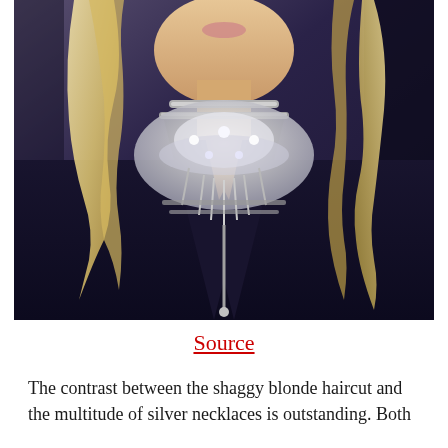[Figure (photo): A blonde woman wearing layered silver necklaces and a deep V-neck dark outfit against a grey/dark background.]
Source
The contrast between the shaggy blonde haircut and the multitude of silver necklaces is outstanding. Both